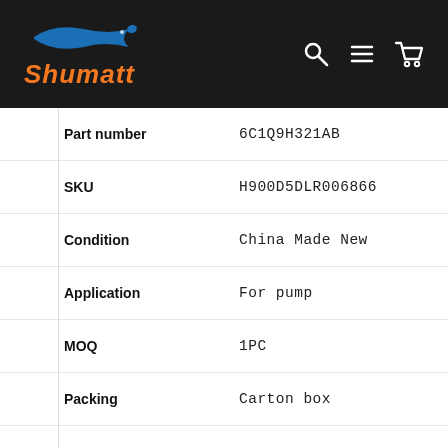Shumatt
| Field | Value |
| --- | --- |
| Part number | 6C1Q9H321AB |
| SKU | H900D5DLR006866 |
| Condition | China Made New |
| Application | For pump |
| MOQ | 1PC |
| Packing | Carton box |